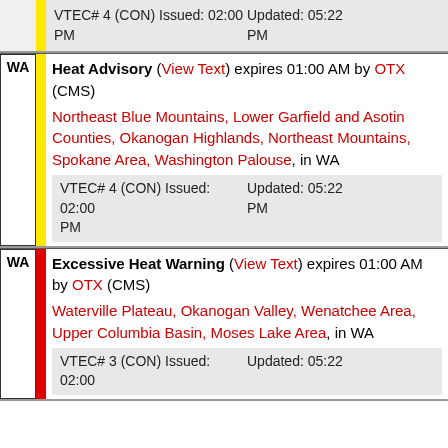VTEC# 4 (CON) Issued: 02:00 PM Updated: 05:22 PM
WA Heat Advisory (View Text) expires 01:00 AM by OTX (CMS) Northeast Blue Mountains, Lower Garfield and Asotin Counties, Okanogan Highlands, Northeast Mountains, Spokane Area, Washington Palouse, in WA VTEC# 4 (CON) Issued: 02:00 PM Updated: 05:22 PM
WA Excessive Heat Warning (View Text) expires 01:00 AM by OTX (CMS) Waterville Plateau, Okanogan Valley, Wenatchee Area, Upper Columbia Basin, Moses Lake Area, in WA VTEC# 3 (CON) Issued: 02:00 Updated: 05:22